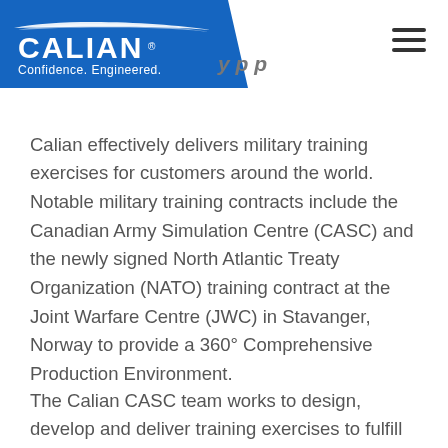CALIAN · Confidence. Engineered.
Calian effectively delivers military training exercises for customers around the world. Notable military training contracts include the Canadian Army Simulation Centre (CASC) and the newly signed North Atlantic Treaty Organization (NATO) training contract at the Joint Warfare Centre (JWC) in Stavanger, Norway to provide a 360° Comprehensive Production Environment.
The Calian CASC team works to design, develop and deliver training exercises to fulfill numerous